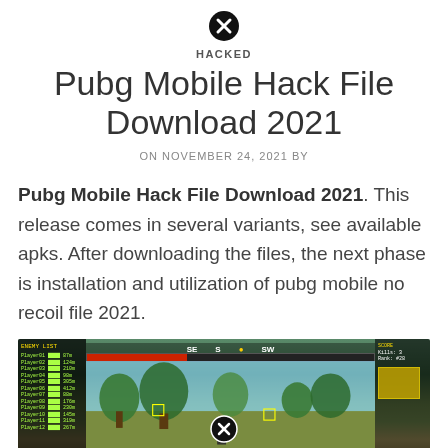[Figure (other): Close/cancel button icon (black circle with X)]
HACKED
Pubg Mobile Hack File Download 2021
ON NOVEMBER 24, 2021 BY
Pubg Mobile Hack File Download 2021. This release comes in several variants, see available apks. After downloading the files, the next phase is installation and utilization of pubg mobile no recoil file 2021.
[Figure (screenshot): Screenshot of PUBG Mobile game with hack overlay showing player positions, health bars, compass, and HUD elements. A close/cancel button is overlaid at the bottom center.]